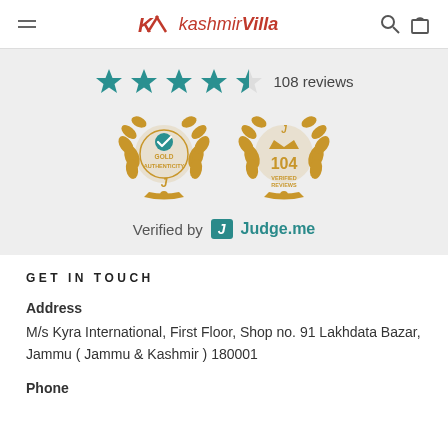kashmirVilla
[Figure (infographic): Star rating showing 4.5 stars with '108 reviews', Gold Authenticity badge and 104 Verified Reviews badge from Judge.me, and 'Verified by Judge.me' text.]
GET IN TOUCH
Address
M/s Kyra International, First Floor, Shop no. 91 Lakhdata Bazar, Jammu ( Jammu & Kashmir ) 180001
Phone